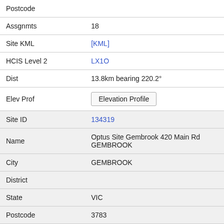| Field | Value |
| --- | --- |
| Postcode |  |
| Assgnmts | 18 |
| Site KML | [KML] |
| HCIS Level 2 | LX1O |
| Dist | 13.8km bearing 220.2° |
| Elev Prof | Elevation Profile |
| Site ID | 134319 |
| Name | Optus Site Gembrook 420 Main Rd GEMBROOK |
| City | GEMBROOK |
| District |  |
| State | VIC |
| Postcode | 3783 |
| Assgnmts | 20 |
| Site KML | [KML] |
| HCIS Level 2 | LX1O |
| Dist | 13.9km bearing 220.1° |
| Elev Prof | Elevation Profile |